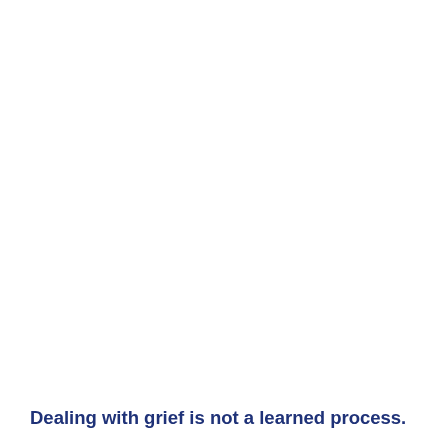Dealing with grief is not a learned process.